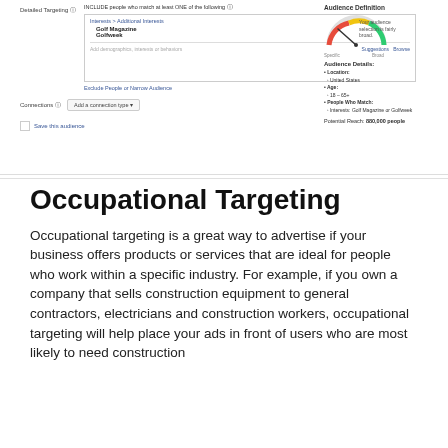[Figure (screenshot): Facebook Ads Manager interface showing Detailed Targeting section with Interests > Additional Interests including Golf Magazine and Golfweek, plus Audience Definition panel showing gauge, Audience Details (Location: United States, Age: 18-65+, People Who Match: Interests: Golf Magazine or Golfweek), and Potential Reach: 880,000 people]
Occupational Targeting
Occupational targeting is a great way to advertise if your business offers products or services that are ideal for people who work within a specific industry. For example, if you own a company that sells construction equipment to general contractors, electricians and construction workers, occupational targeting will help place your ads in front of users who are most likely to need construction